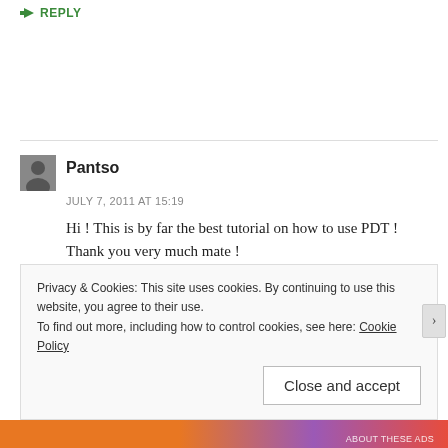↳ REPLY
Pantso
JULY 7, 2011 AT 15:19
Hi ! This is by far the best tutorial on how to use PDT ! Thank you very much mate !
★ Like
Privacy & Cookies: This site uses cookies. By continuing to use this website, you agree to their use.
To find out more, including how to control cookies, see here: Cookie Policy
Close and accept